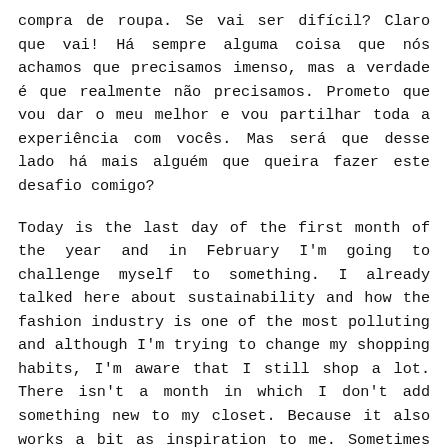compra de roupa. Se vai ser difícil? Claro que vai! Há sempre alguma coisa que nós achamos que precisamos imenso, mas a verdade é que realmente não precisamos. Prometo que vou dar o meu melhor e vou partilhar toda a experiência com vocês. Mas será que desse lado há mais alguém que queira fazer este desafio comigo?
Today is the last day of the first month of the year and in February I'm going to challenge myself to something. I already talked here about sustainability and how the fashion industry is one of the most polluting and although I'm trying to change my shopping habits, I'm aware that I still shop a lot. There isn't a month in which I don't add something new to my closet. Because it also works a bit as inspiration to me. Sometimes all we need is a new piece of clothing to look at our clothes with different eyes. But all these new clothes also make me forget about old clothes that would also be amazing to share with you. That's why I'm challenging myself to not shop anything in February. If is it going to be hard? Hell yeah! There's always something that we think we reallly need, but truth